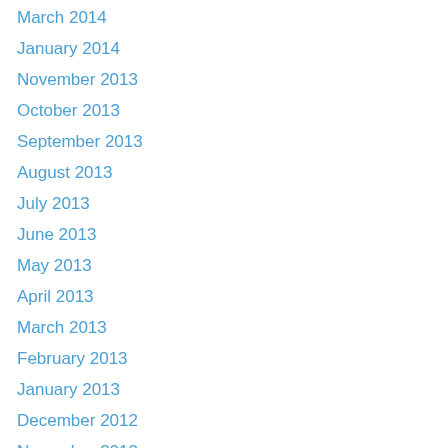March 2014
January 2014
November 2013
October 2013
September 2013
August 2013
July 2013
June 2013
May 2013
April 2013
March 2013
February 2013
January 2013
December 2012
November 2012
October 2012
September 2012
August 2012
July 2012